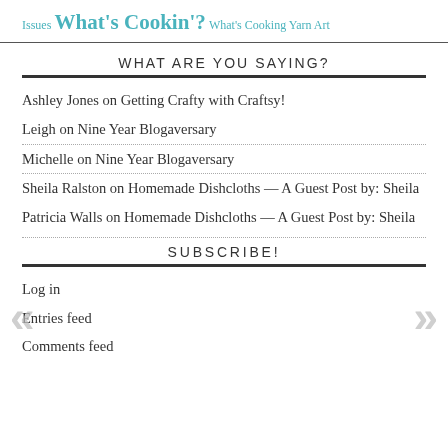Issues  What's Cookin'?  What's Cooking Yarn Art
WHAT ARE YOU SAYING?
Ashley Jones on Getting Crafty with Craftsy!
Leigh on Nine Year Blogaversary
Michelle on Nine Year Blogaversary
Sheila Ralston on Homemade Dishcloths — A Guest Post by: Sheila
Patricia Walls on Homemade Dishcloths — A Guest Post by: Sheila
SUBSCRIBE!
Log in
Entries feed
Comments feed